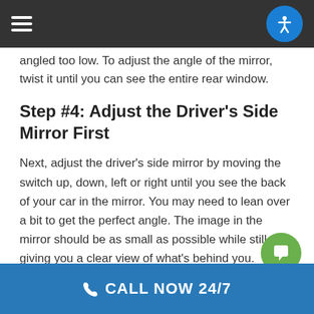[hamburger menu] [accessibility icon]
angled too low. To adjust the angle of the mirror, twist it until you can see the entire rear window.
Step #4: Adjust the Driver's Side Mirror First
Next, adjust the driver's side mirror by moving the switch up, down, left or right until you see the back of your car in the mirror. You may need to lean over a bit to get the perfect angle. The image in the mirror should be as small as possible while still giving you a clear view of what's behind you.
CALL NOW 24/7